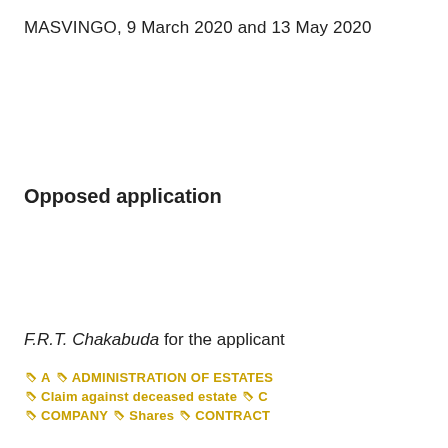MASVINGO, 9 March 2020 and 13 May 2020
Opposed application
F.R.T. Chakabuda for the applicant
A  ADMINISTRATION OF ESTATES  Claim against deceased estate  C  COMPANY  Shares  CONTRACT